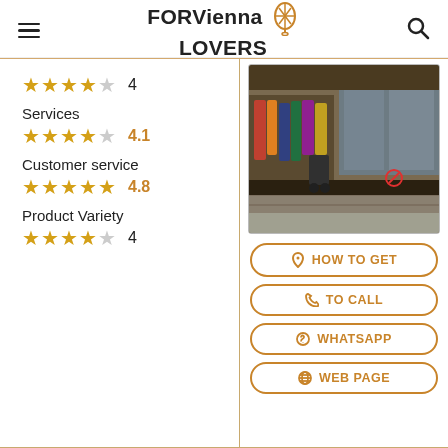FOR Vienna LOVERS
★★★★☆  4
Services
★★★★☆  4.1
Customer service
★★★★★  4.8
Product Variety
★★★★☆  4
[Figure (photo): Street view of a Vienna shop front with clothing and merchandise displayed outside, reflections in glass windows]
HOW TO GET
TO CALL
WHATSAPP
WEB PAGE